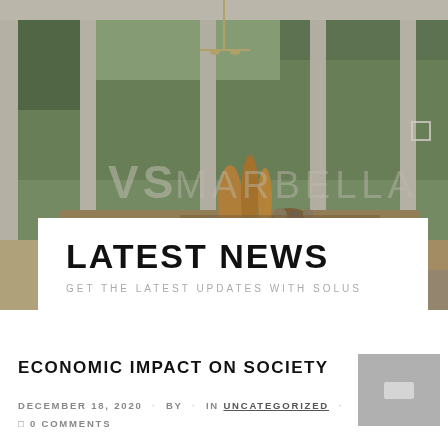[Figure (photo): Hero image of a modern dining room with large windows, wooden table, chairs, bench, and garden view in the background. A watermark logo 'VS MARBELLA' is overlaid.]
LATEST NEWS
GET THE LATEST UPDATES WITH SOLUS
ECONOMIC IMPACT ON SOCIETY
DECEMBER 18, 2020 · BY · IN UNCATEGORIZED · 0 COMMENTS